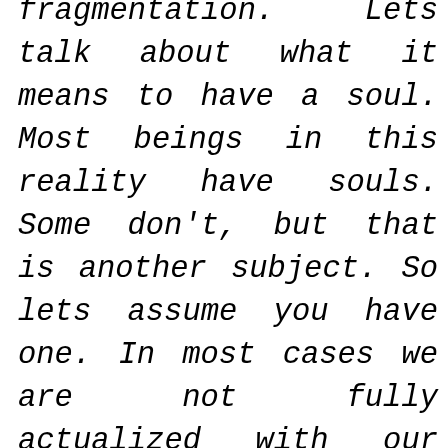fragmentation. Lets talk about what it means to have a soul. Most beings in this reality have souls. Some don't, but that is another subject. So lets assume you have one. In most cases we are not fully actualized with our soul. We are fragmented as a result of our programming and experience so we make choices that separate us from our inner knowing and feeling which create barriers or veils between what is the truth of